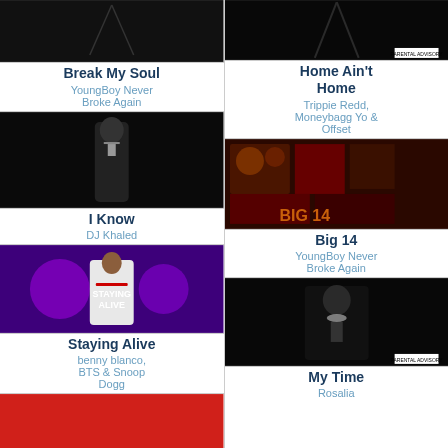[Figure (photo): Album cover for Break My Soul - dark background]
Break My Soul
YoungBoy Never Broke Again
[Figure (photo): Album cover - I Know - YoungBoy Never Broke Again standing in dark outfit]
I Know
DJ Khaled
[Figure (photo): Staying Alive album cover - DJ Khaled in white suit on purple background]
Staying Alive
benny blanco, BTS & Snoop Dogg
[Figure (photo): Red album cover]
[Figure (photo): Home Ain't Home album cover - dark background]
Home Ain't Home
Trippie Redd, Moneybagg Yo & Offset
[Figure (photo): Big 14 album cover - collage of images with BIG 14 text]
Big 14
YoungBoy Never Broke Again
[Figure (photo): My Time album cover - YoungBoy standing in dark outfit]
My Time
Rosalia